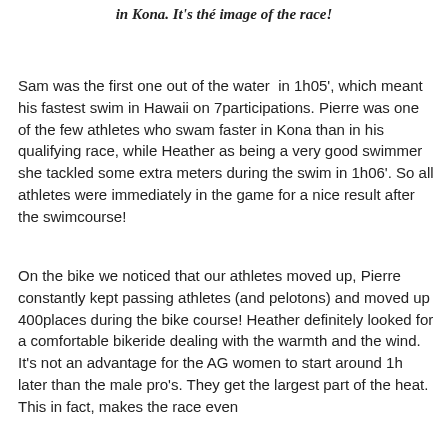in Kona. It's thé image of the race!
Sam was the first one out of the water in 1h05', which meant his fastest swim in Hawaii on 7participations. Pierre was one of the few athletes who swam faster in Kona than in his qualifying race, while Heather as being a very good swimmer she tackled some extra meters during the swim in 1h06'. So all athletes were immediately in the game for a nice result after the swimcourse!
On the bike we noticed that our athletes moved up, Pierre constantly kept passing athletes (and pelotons) and moved up 400places during the bike course! Heather definitely looked for a comfortable bikeride dealing with the warmth and the wind. It's not an advantage for the AG women to start around 1h later than the male pro's. They get the largest part of the heat. This in fact, makes the race even